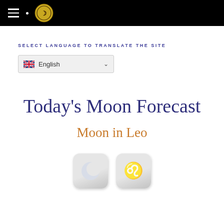Navigation header with hamburger menu and logo
SELECT LANGUAGE TO TRANSLATE THE SITE
English (language selector dropdown)
Today's Moon Forecast
Moon in Leo
[Figure (illustration): Two app-style icons: a crescent moon icon and a Leo zodiac sign icon]